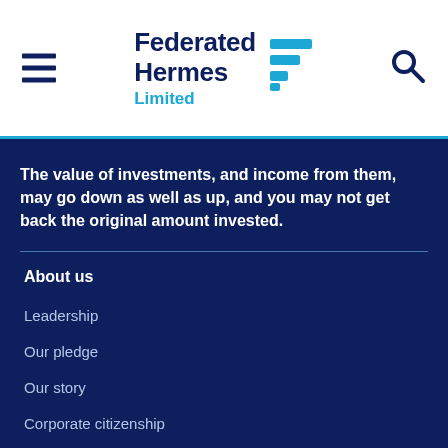[Figure (logo): Federated Hermes Limited logo with hamburger menu icon on left and search icon on right]
The value of investments, and income from them, may go down as well as up, and you may not get back the original amount invested.
About us
Leadership
Our pledge
Our story
Corporate citizenship
Diversity, equity and inclusion